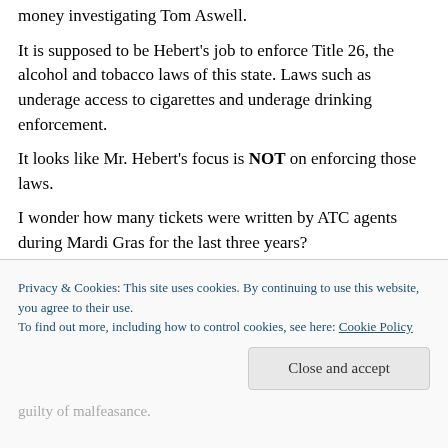money investigating Tom Aswell.
It is supposed to be Hebert's job to enforce Title 26, the alcohol and tobacco laws of this state. Laws such as underage access to cigarettes and underage drinking enforcement.
It looks like Mr. Hebert's focus is NOT on enforcing those laws.
I wonder how many tickets were written by ATC agents during Mardi Gras for the last three years?
I'll bet the number went down last year and this
Privacy & Cookies: This site uses cookies. By continuing to use this website, you agree to their use.
To find out more, including how to control cookies, see here: Cookie Policy
Close and accept
guilty of malfeasance.